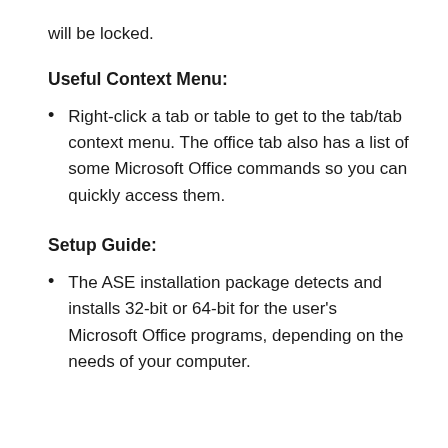will be locked.
Useful Context Menu:
Right-click a tab or table to get to the tab/tab context menu. The office tab also has a list of some Microsoft Office commands so you can quickly access them.
Setup Guide:
The ASE installation package detects and installs 32-bit or 64-bit for the user's Microsoft Office programs, depending on the needs of your computer.